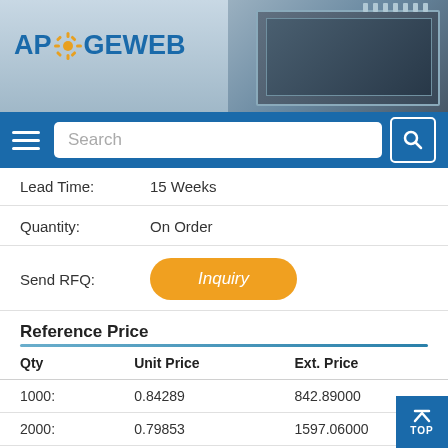[Figure (logo): ApoGeeWeb logo with gear icon and microchip background image in header banner]
Search
Lead Time: 15 Weeks
Quantity: On Order
Send RFQ: Inquiry
Reference Price
| Qty | Unit Price | Ext. Price |
| --- | --- | --- |
| 1000: | 0.84289 | 842.89000 |
| 2000: | 0.79853 | 1597.06000 |